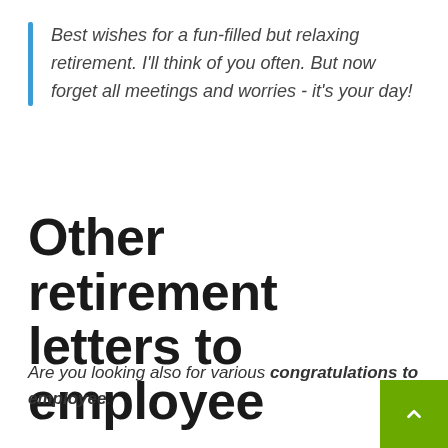Best wishes for a fun-filled but relaxing retirement. I'll think of you often. But now forget all meetings and worries - it's your day!
Other retirement letters to employee
Are you looking also for various congratulations to employee.